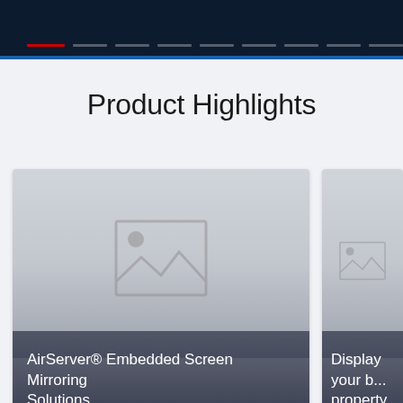Product Highlights
[Figure (illustration): Product card with placeholder image showing AirServer® Embedded Screen Mirroring Solutions]
[Figure (illustration): Partially visible product card with placeholder image showing Display your b... property]